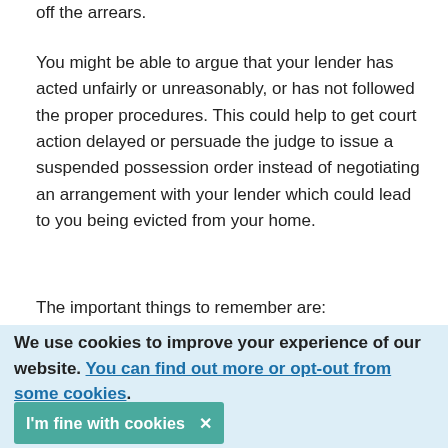off the arrears.
You might be able to argue that your lender has acted unfairly or unreasonably, or has not followed the proper procedures. This could help to get court action delayed or persuade the judge to issue a suspended possession order instead of negotiating an arrangement with your lender which could lead to you being evicted from your home.
The important things to remember are:
We use cookies to improve your experience of our website. You can find out more or opt-out from some cookies.
I'm fine with cookies ✕